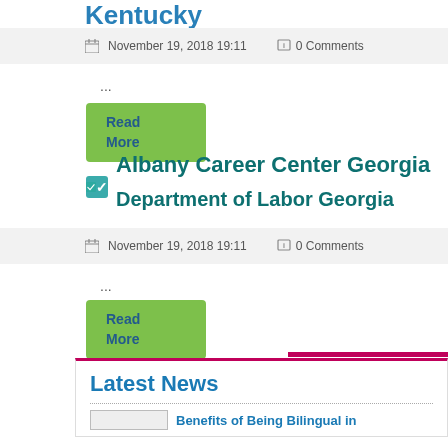Kentucky
November 19, 2018 19:11   0 Comments
...
Read More
Albany Career Center Georgia
Department of Labor Georgia
November 19, 2018 19:11   0 Comments
...
Read More
Latest News
Benefits of Being Bilingual in